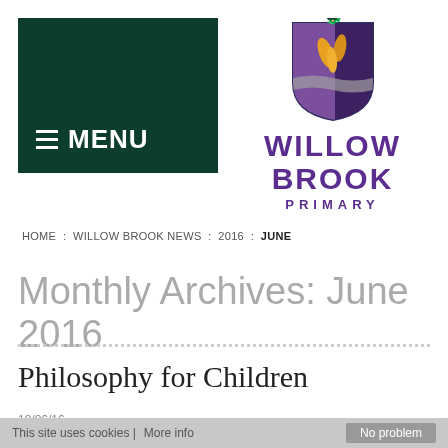[Figure (logo): Dark green rectangle with hamburger icon and MENU text in white]
[Figure (logo): Willow Brook Primary school logo: shield crest with dragon, purple and gold leaves, above text WILLOW BROOK PRIMARY in purple]
HOME : WILLOW BROOK NEWS : 2016 : JUNE
Monthly Archives: June 2016
Philosophy for Children
10/06/16
This site uses cookies | More info   No problem